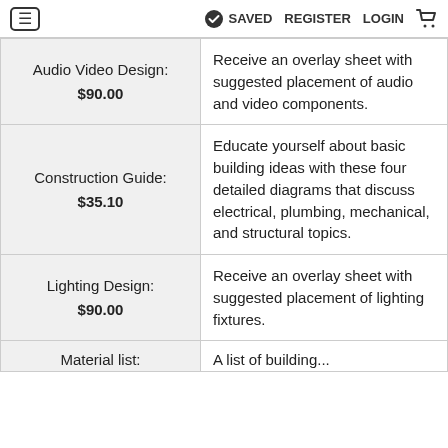≡  ✓ SAVED  REGISTER  LOGIN  🛒
| Item | Description |
| --- | --- |
| Audio Video Design:
$90.00 | Receive an overlay sheet with suggested placement of audio and video components. |
| Construction Guide:
$35.10 | Educate yourself about basic building ideas with these four detailed diagrams that discuss electrical, plumbing, mechanical, and structural topics. |
| Lighting Design:
$90.00 | Receive an overlay sheet with suggested placement of lighting fixtures. |
| Material list: | A list of building... |